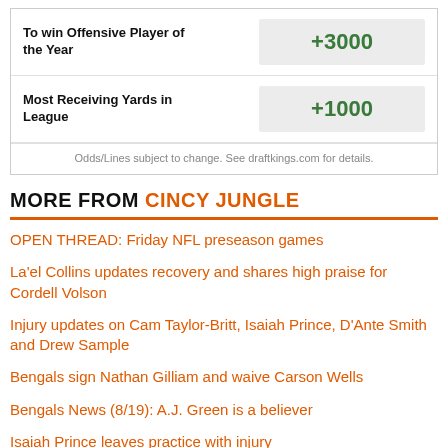| Bet | Odds |
| --- | --- |
| To win Offensive Player of the Year | +3000 |
| Most Receiving Yards in League | +1000 |
Odds/Lines subject to change. See draftkings.com for details.
MORE FROM CINCY JUNGLE
OPEN THREAD: Friday NFL preseason games
La'el Collins updates recovery and shares high praise for Cordell Volson
Injury updates on Cam Taylor-Britt, Isaiah Prince, D'Ante Smith and Drew Sample
Bengals sign Nathan Gilliam and waive Carson Wells
Bengals News (8/19): A.J. Green is a believer
Isaiah Prince leaves practice with injury